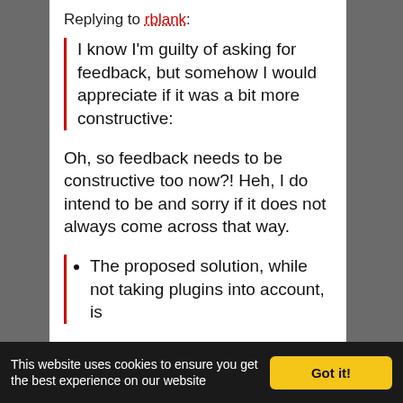Replying to rblank:
I know I'm guilty of asking for feedback, but somehow I would appreciate if it was a bit more constructive:
Oh, so feedback needs to be constructive too now?! Heh, I do intend to be and sorry if it does not always come across that way.
The proposed solution, while not taking plugins into account, is
This website uses cookies to ensure you get the best experience on our website